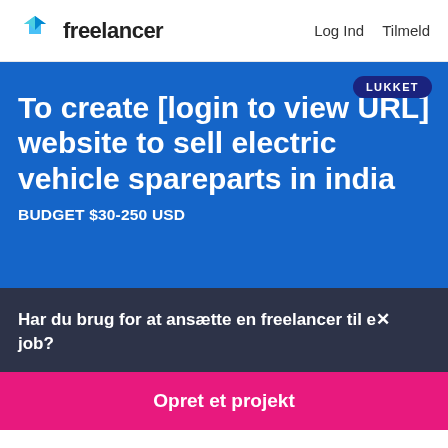freelancer  Log Ind  Tilmeld
To create [login to view URL] website to sell electric vehicle spareparts in india
BUDGET $30-250 USD
LUKKET
Har du brug for at ansætte en freelancer til et job?
Opret et projekt